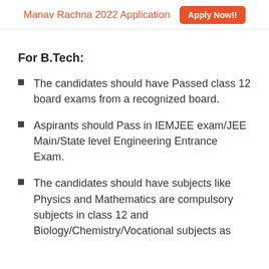Manav Rachna 2022 Application  Apply Now!!
For B.Tech:
The candidates should have Passed class 12 board exams from a recognized board.
Aspirants should Pass in IEMJEE exam/JEE Main/State level Engineering Entrance Exam.
The candidates should have subjects like Physics and Mathematics are compulsory subjects in class 12 and Biology/Chemistry/Vocational subjects as